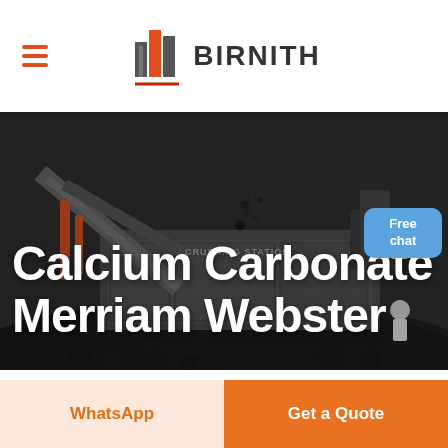[Figure (logo): Birnith company logo with orange/red building icon and BIRNITH text in dark gray]
[Figure (photo): Industrial crushing station with heavy machinery, conveyor belts, and coal/rock material in dark moody tones]
Calcium Carbonate Merriam Webster
[Figure (other): Free chat button bubble in blue, with person avatar]
WhatsApp
Get a Quote